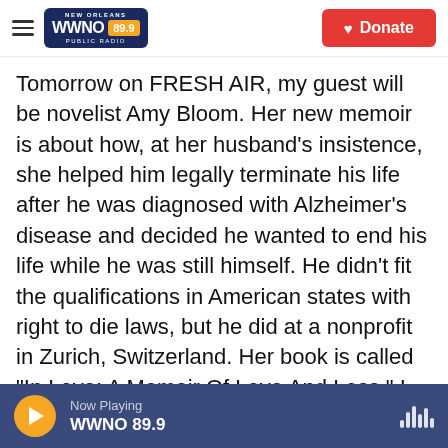WWNO 89.9 New Orleans Public Radio | Donate
Tomorrow on FRESH AIR, my guest will be novelist Amy Bloom. Her new memoir is about how, at her husband's insistence, she helped him legally terminate his life after he was diagnosed with Alzheimer's disease and decided he wanted to end his life while he was still himself. He didn't fit the qualifications in American states with right to die laws, but he did at a nonprofit in Zurich, Switzerland. Her book is called "In Love: A Memoir Of Love And Loss." I hope you'll join us.
(SOUNDBITE OF BILL EVANS TRIO'S "DOLPHIN DANCE")
Now Playing WWNO 89.9